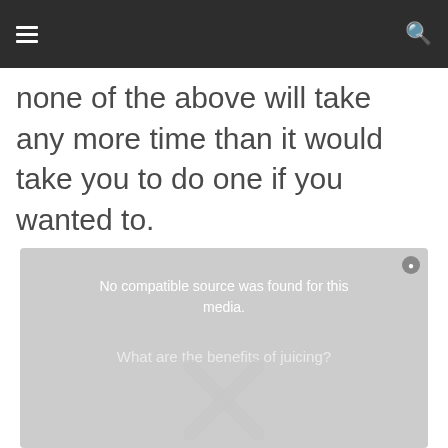none of the above will take any more time than it would take you to do one if you wanted to.
[Figure (screenshot): Video player placeholder showing 'No compatible source was found for this media.' error message with a close button and watermark X icon, overlaid on a faded video thumbnail showing text 'What are the benefits of juicing?']